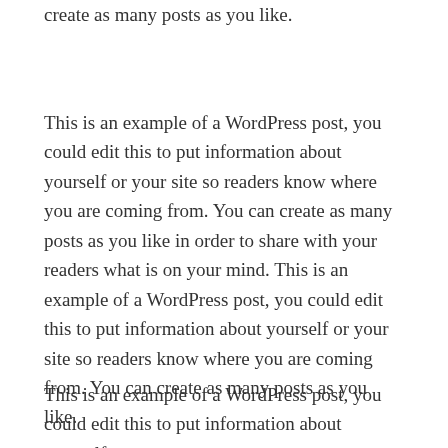create as many posts as you like.
This is an example of a WordPress post, you could edit this to put information about yourself or your site so readers know where you are coming from. You can create as many posts as you like in order to share with your readers what is on your mind. This is an example of a WordPress post, you could edit this to put information about yourself or your site so readers know where you are coming from. You can create as many posts as you like.
This is an example of a WordPress post, you could edit this to put information about yourself